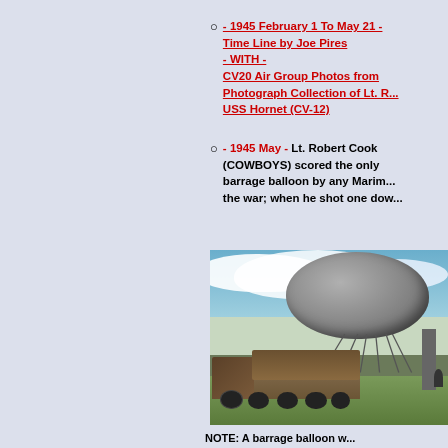- 1945 February 1 To May 21 - Time Line by Joe Pires - WITH - CV20 Air Group Photos from Photograph Collection of Lt. R... USS Hornet (CV-12)
- 1945 May - Lt. Robert Cook (COWBOYS) scored the only barrage balloon by any Marin... the war; when he shot one dow...
[Figure (photo): A large barrage balloon tethered with ropes to a military truck on a grassy field, with cloudy sky in the background.]
NOTE: A barrage balloon w...